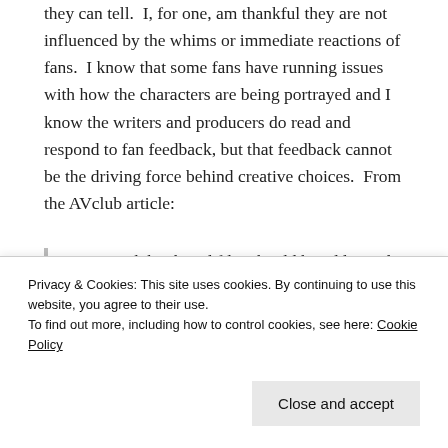they can tell.  I, for one, am thankful they are not influenced by the whims or immediate reactions of fans.  I know that some fans have running issues with how the characters are being portrayed and I know the writers and producers do read and respond to fan feedback, but that feedback cannot be the driving force behind creative choices.  From the AVclub article:
...Both book and film should be addressed as independent entities. ...This means not going into an adaptation with a mental checklist of things that must be in the movie to make it good, and evaluating a film based on what's on
Privacy & Cookies: This site uses cookies. By continuing to use this website, you agree to their use.
To find out more, including how to control cookies, see here: Cookie Policy
Close and accept